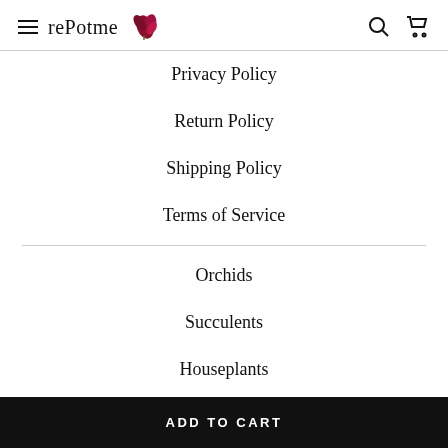rePotme
Privacy Policy
Return Policy
Shipping Policy
Terms of Service
Orchids
Succulents
Houseplants
Care
ADD TO CART